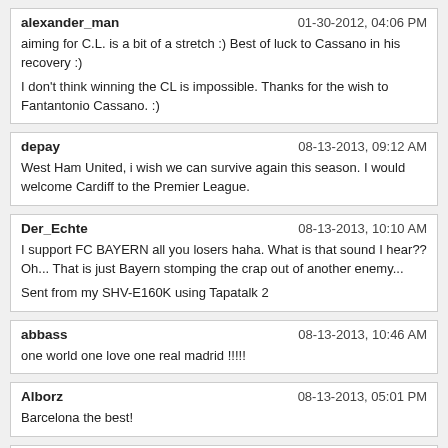alexander_man | 01-30-2012, 04:06 PM
aiming for C.L. is a bit of a stretch :) Best of luck to Cassano in his recovery :)
I don't think winning the CL is impossible. Thanks for the wish to Fantantonio Cassano. :)
depay | 08-13-2013, 09:12 AM
West Ham United, i wish we can survive again this season. I would welcome Cardiff to the Premier League.
Der_Echte | 08-13-2013, 10:10 AM
I support FC BAYERN all you losers haha. What is that sound I hear?? Oh... That is just Bayern stomping the crap out of another enemy...
Sent from my SHV-E160K using Tapatalk 2
abbass | 08-13-2013, 10:46 AM
one world one love one real madrid !!!!!
Alborz | 08-13-2013, 05:01 PM
Barcelona the best!
Pongfinity | 11-13-2013, 04:19 PM
Haha found this funny topic :D I have to go with FC Barcelona, really enjoy watching them play. In England probably ManU :p